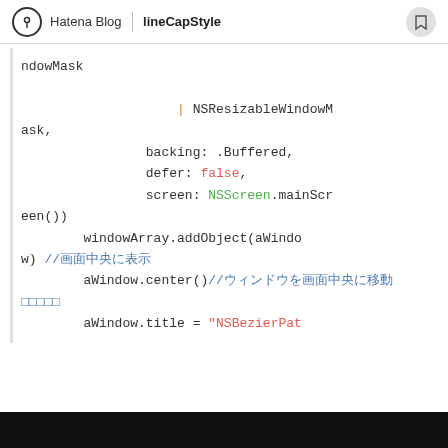Hatena Blog | lineCapStyle
ndowMask
            | NSResizableWindowMask,
            backing: .Buffered,
            defer: false,
            screen: NSScreen.mainScreen())
        windowArray.addObject(aWindow) //画面中央に表示
        aWindow.center()//ウィンドウを画面中央に移動
        aWindow.title = "NSBezierPat